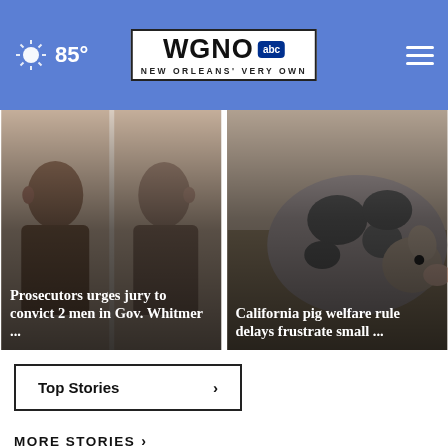85° WGNO abc NEW ORLEANS' VERY OWN
[Figure (photo): Two men's mugshot-style side profile and frontal photos overlaid side by side with text overlay reading 'Prosecutors urges jury to convict 2 men in Gov. Whitmer ...']
[Figure (photo): Close-up photo of a large spotted pig with text overlay reading 'California pig welfare rule delays frustrate small ...']
Top Stories ›
MORE STORIES ›